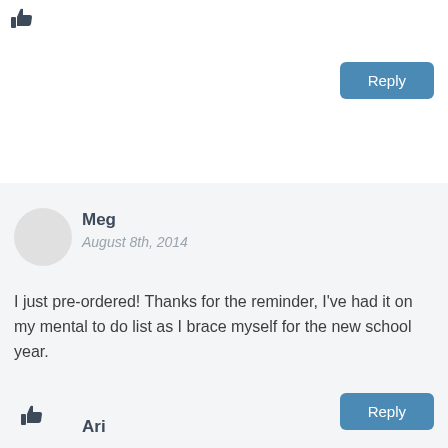[Figure (other): Thumbs up icon at top left]
[Figure (other): Reply button at top right]
Meg
August 8th, 2014
I just pre-ordered! Thanks for the reminder, I've had it on my mental to do list as I brace myself for the new school year.
[Figure (other): Thumbs up icon inside comment box]
[Figure (other): Reply button inside comment box]
Ari